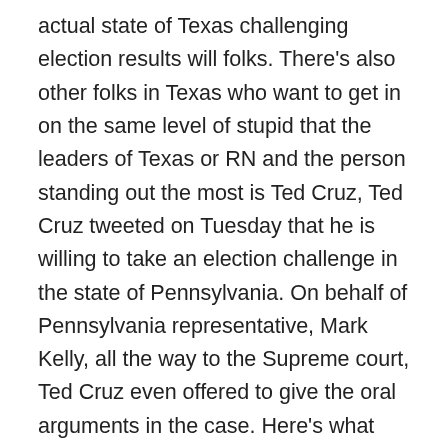actual state of Texas challenging election results will folks. There's also other folks in Texas who want to get in on the same level of stupid that the leaders of Texas or RN and the person standing out the most is Ted Cruz, Ted Cruz tweeted on Tuesday that he is willing to take an election challenge in the state of Pennsylvania. On behalf of Pennsylvania representative, Mark Kelly, all the way to the Supreme court, Ted Cruz even offered to give the oral arguments in the case. Here's what Ted Cruz, Sweden petitioner's legal team has asked me whether I would be willing to argue the case before SCOTUS. If the court grants search Ori, I have grade, and I told them that if the court takes the appeal, I will stand ready to present the oral argument. As I said, last week, the bitter division and acrimony we